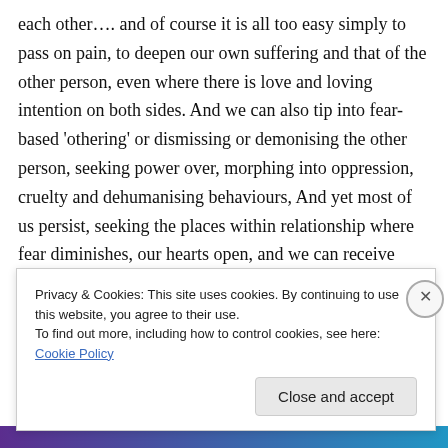each other…. and of course it is all too easy simply to pass on pain, to deepen our own suffering and that of the other person, even where there is love and loving intention on both sides. And we can also tip into fear-based 'othering' or dismissing or demonising the other person, seeking power over, morphing into oppression, cruelty and dehumanising behaviours, And yet most of us persist, seeking the places within relationship where fear diminishes, our hearts open, and we can receive ourselves and each other. We seek the warmth of
Privacy & Cookies: This site uses cookies. By continuing to use this website, you agree to their use.
To find out more, including how to control cookies, see here: Cookie Policy